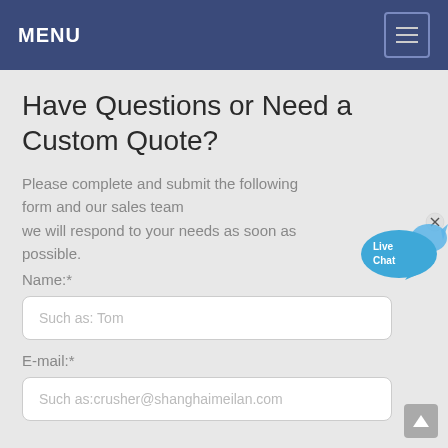MENU
Have Questions or Need a Custom Quote?
Please complete and submit the following form and our sales team we will respond to your needs as soon as possible.
Name:*
Such as: Tom
E-mail:*
Such as:crusher@shanghaimeilan.com
[Figure (illustration): Live Chat speech bubble widget in blue with white text reading 'Live Chat' and a close X button]